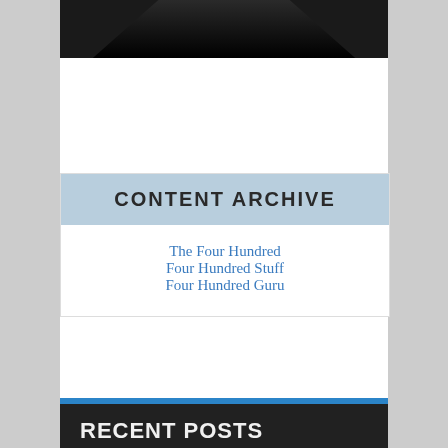[Figure (illustration): Dark triangular/mountain shape silhouette at top of page]
CONTENT ARCHIVE
The Four Hundred
Four Hundred Stuff
Four Hundred Guru
RECENT POSTS
The Cloud's Future Is So Bright, So Why Are You So Glum?
Most App Modernization Projects a Struggle, Survey Finds
COMMON Launches IBM i Security Guide